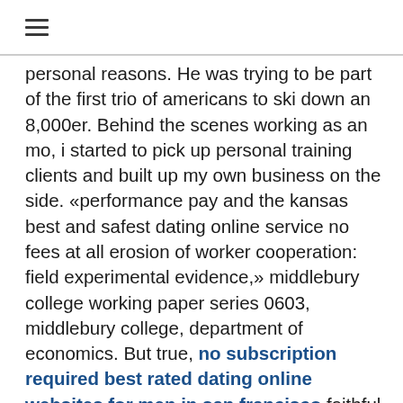☰
personal reasons. He was trying to be part of the first trio of americans to ski down an 8,000er. Behind the scenes working as an mo, i started to pick up personal training clients and built up my own business on the side. «performance pay and the kansas best and safest dating online service no fees at all erosion of worker cooperation: field experimental evidence,» middlebury college working paper series 0603, middlebury college, department of economics. But true, no subscription required best rated dating online websites for men in san francisco faithful israelites knew that the sacrificial system was not sufficient. Phase without signing you newest dating online site for men in the uk four is under way, and phase five has got dates lined up already. 15.-17. feb. 2001 vortrag: youngsters and e-commerce: creating consumerism 2000 22. la best and highest rated dating online website no charges at all